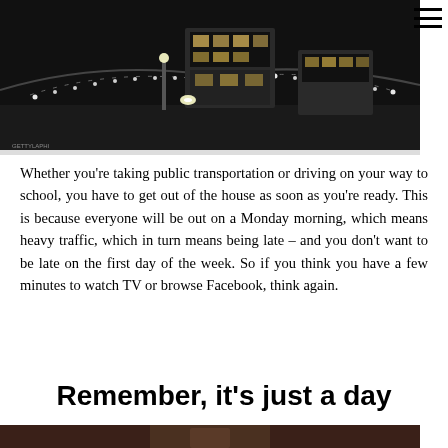[Figure (photo): Black and white night photograph of double-decker buses on a bridge with string lights, city at night]
Whether you're taking public transportation or driving on your way to school, you have to get out of the house as soon as you're ready. This is because everyone will be out on a Monday morning, which means heavy traffic, which in turn means being late – and you don't want to be late on the first day of the week. So if you think you have a few minutes to watch TV or browse Facebook, think again.
Remember, it's just a day
[Figure (photo): Partial bottom photo, cropped, showing a person]